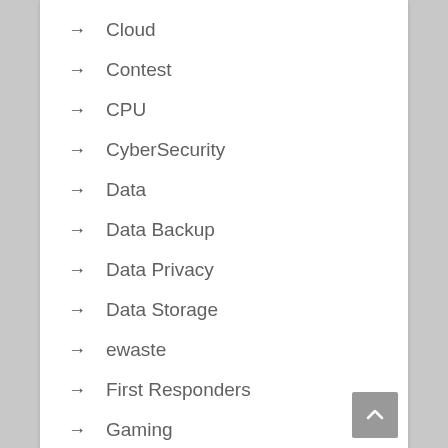→ Cloud
→ Contest
→ CPU
→ CyberSecurity
→ Data
→ Data Backup
→ Data Privacy
→ Data Storage
→ ewaste
→ First Responders
→ Gaming
→ Giveaway